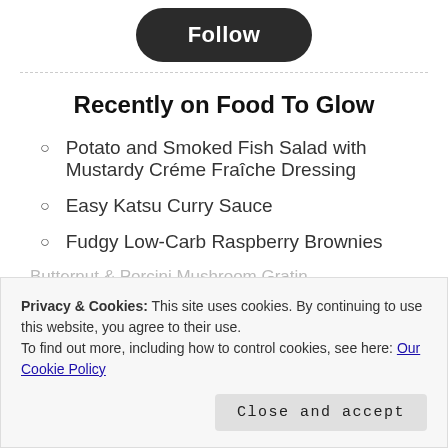[Figure (other): Dark rounded 'Follow' button]
Recently on Food To Glow
Potato and Smoked Fish Salad with Mustardy Créme Fraîche Dressing
Easy Katsu Curry Sauce
Fudgy Low-Carb Raspberry Brownies
Privacy & Cookies: This site uses cookies. By continuing to use this website, you agree to their use.
To find out more, including how to control cookies, see here: Our Cookie Policy
Close and accept